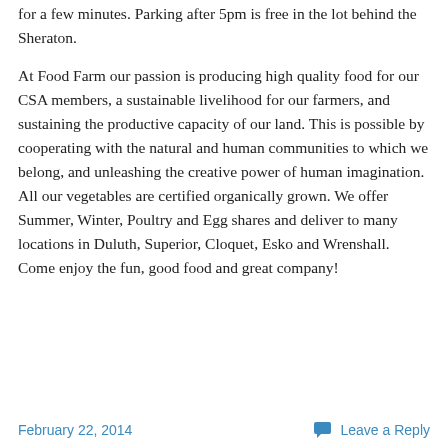for a few minutes. Parking after 5pm is free in the lot behind the Sheraton.
At Food Farm our passion is producing high quality food for our CSA members, a sustainable livelihood for our farmers, and sustaining the productive capacity of our land. This is possible by cooperating with the natural and human communities to which we belong, and unleashing the creative power of human imagination. All our vegetables are certified organically grown. We offer Summer, Winter, Poultry and Egg shares and deliver to many locations in Duluth, Superior, Cloquet, Esko and Wrenshall. Come enjoy the fun, good food and great company!
February 22, 2014  Leave a Reply